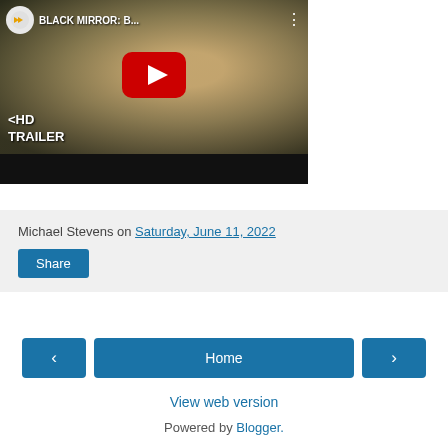[Figure (screenshot): YouTube video thumbnail for 'BLACK MIRROR: B...' showing a young man's face with KHD logo, play button, and KHD TRAILER text overlay]
Michael Stevens on Saturday, June 11, 2022
Share
Home
View web version
Powered by Blogger.